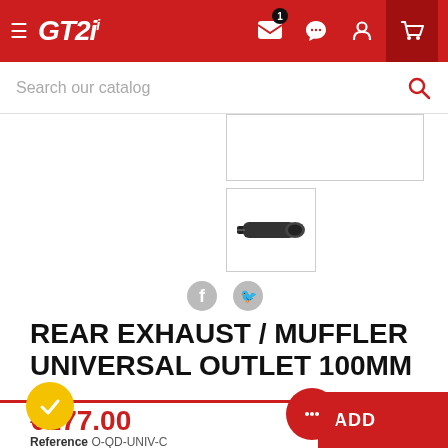[Figure (logo): GT2i logo in white italic bold text on red header background with hamburger menu icon]
Search our catalog
[Figure (photo): Product thumbnail image of a black exhaust muffler/silencer tube shown at angle]
REAR EXHAUST / MUFFLER UNIVERSAL OUTLET 100MM
€177.00
Reference O-QD-UNIV-C